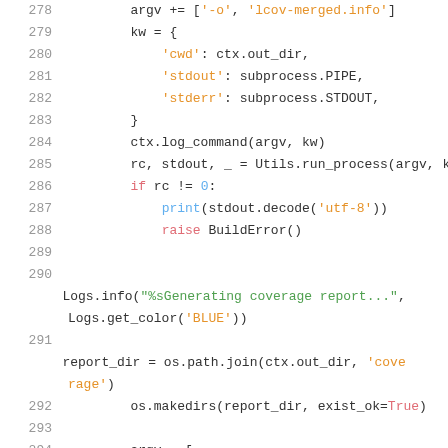Code listing lines 278-296, Python source code showing coverage report generation
[Figure (screenshot): Python source code snippet with syntax highlighting showing lines 278-296. Code includes list/dict operations, subprocess calls, logging, and os.path operations.]